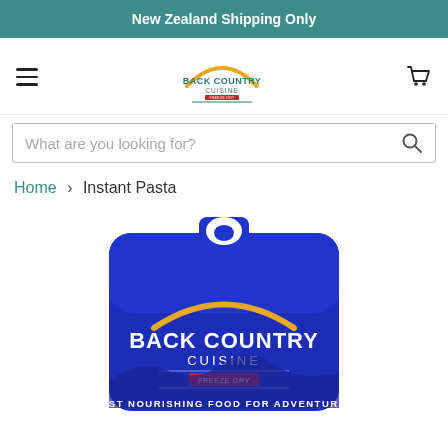New Zealand Shipping Only
[Figure (logo): Back Country Cuisine logo with golden arch and teal text]
What are you looking for?
Home > Instant Pasta
[Figure (photo): Blue Back Country Cuisine freeze-dried meal pouch with golden arch logo, text reads BACK COUNTRY CUISINE FREEZE DRY and FAST NOURISHING FOOD FOR ADVENTURES]